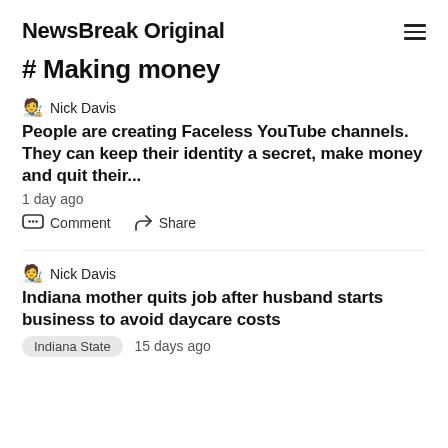NewsBreak Original
# Making money
🧑‍🎨 Nick Davis
People are creating Faceless YouTube channels. They can keep their identity a secret, make money and quit their...
1 day ago
Comment   Share
🧑‍🎨 Nick Davis
Indiana mother quits job after husband starts business to avoid daycare costs
Indiana State   15 days ago